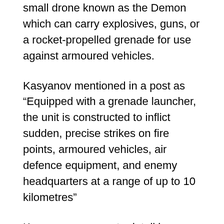small drone known as the Demon which can carry explosives, guns, or a rocket-propelled grenade for use against armoured vehicles.
Kasyanov mentioned in a post as “Equipped with a grenade launcher, the unit is constructed to inflict sudden, precise strikes on fire points, armoured vehicles, air defence equipment, and enemy headquarters at a range of up to 10 kilometres”
Kasyanov goes on to detail how a kamikaze variant of the Demon can hit up to 20 kilometres away, jumping on its goal with a 7-kilogram bomb or up to 90 kilometres out containing a 4-kilogram payload. But the Ukrainians are not the only one with recently armed drones.